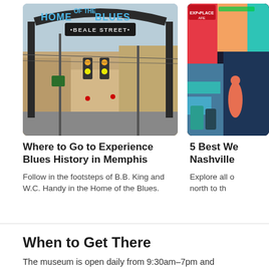[Figure (photo): Beale Street archway sign reading HOME OF THE BLUES with BEALE STREET below, Memphis street scene with traffic lights and buildings]
[Figure (photo): Colorful Nashville street scene with vibrant murals and signage, partially cropped on right side]
Where to Go to Experience Blues History in Memphis
Follow in the footsteps of B.B. King and W.C. Handy in the Home of the Blues.
5 Best We Nashville
Explore all d north to th
When to Get There
The museum is open daily from 9:30am–7pm and